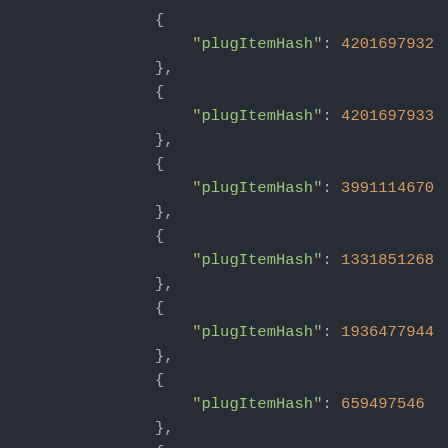JSON code block showing plugItemHash entries: 4201697932, 4201697933, 3991114670, 1331851268, 1936477944, 659497546, 1915578676, 679252408, 3354422473